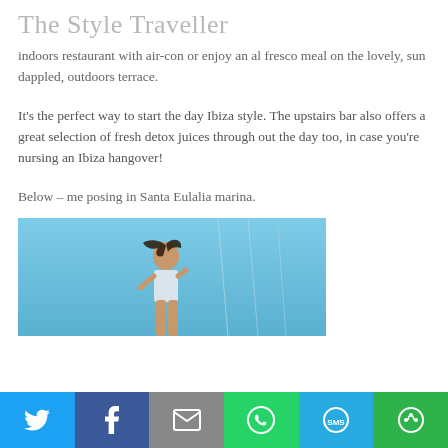The Style Traveller
indoors restaurant with air-con or enjoy an al fresco meal on the lovely, sun dappled, outdoors terrace.
It's the perfect way to start the day Ibiza style. The upstairs bar also offers a great selection of fresh detox juices through out the day too, in case you're nursing an Ibiza hangover!
Below – me posing in Santa Eulalia marina.
[Figure (photo): Woman posing at Santa Eulalia marina against a blue sky background]
Social share bar with Twitter, Facebook, Email, WhatsApp, SMS, and More buttons